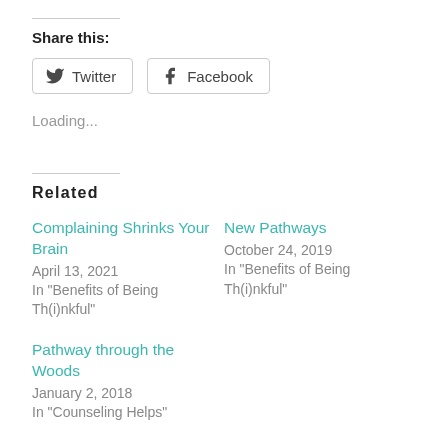Share this:
Twitter | Facebook
Loading...
Related
Complaining Shrinks Your Brain
April 13, 2021
In "Benefits of Being Th(i)nkful"
New Pathways
October 24, 2019
In "Benefits of Being Th(i)nkful"
Pathway through the Woods
January 2, 2018
In "Counseling Helps"